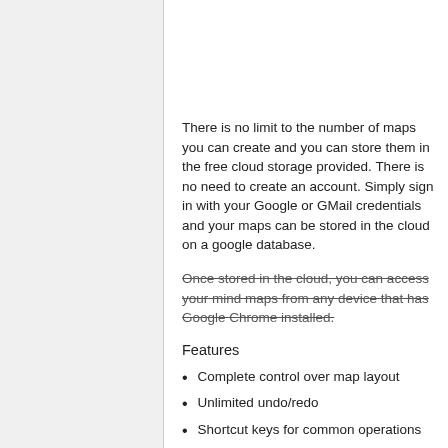There is no limit to the number of maps you can create and you can store them in the free cloud storage provided. There is no need to create an account. Simply sign in with your Google or GMail credentials and your maps can be stored in the cloud on a google database.
Once stored in the cloud, you can access your mind maps from any device that has Google Chrome installed.
Features
Complete control over map layout
Unlimited undo/redo
Shortcut keys for common operations